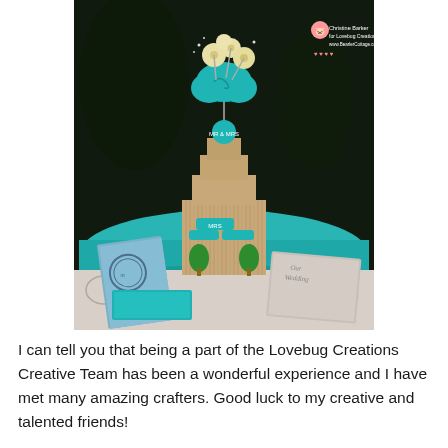[Figure (photo): A decorated book sculpture centerpiece on a teal table runner, surrounded by wedding items. The sculpture is made from folded book pages shaped into a castle/building form, topped with paper flowers and a teal decorative topper. Small green topiary trees flank the base. Wedding books and cards are arranged around it on a patterned tablecloth. A watermark in the top right reads 'Christine Barker for Lovebug Creations www.BearlerCottage.com' with a cute pig logo.]
I can tell you that being a part of the Lovebug Creations Creative Team has been a wonderful experience and I have met many amazing crafters. Good luck to my creative and talented friends!